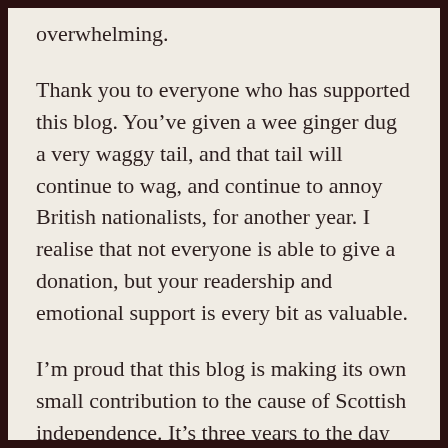overwhelming.
Thank you to everyone who has supported this blog. You’ve given a wee ginger dug a very waggy tail, and that tail will continue to wag, and continue to annoy British nationalists, for another year. I realise that not everyone is able to give a donation, but your readership and emotional support is every bit as valuable.
I’m proud that this blog is making its own small contribution to the cause of Scottish independence. It’s three years to the day since the first referendum, and the independence movement remains strong, vital, and full of energy. We’re not going away until we achieve our goal – a better Scotland, a Scotland that walks the path chosen for it by the people of Scotland. A nuclear free